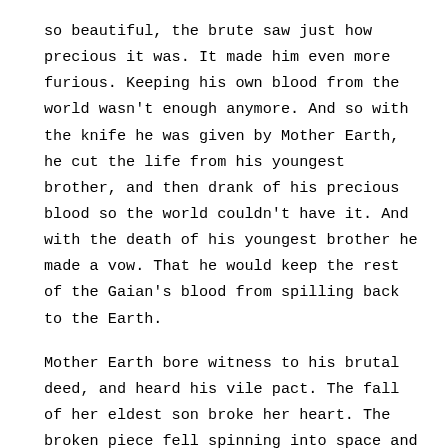so beautiful, the brute saw just how precious it was. It made him even more furious. Keeping his own blood from the world wasn't enough anymore. And so with the knife he was given by Mother Earth, he cut the life from his youngest brother, and then drank of his precious blood so the world couldn't have it. And with the death of his youngest brother he made a vow. That he would keep the rest of the Gaian's blood from spilling back to the Earth.
Mother Earth bore witness to his brutal deed, and heard his vile pact. The fall of her eldest son broke her heart. The broken piece fell spinning into space and turned grey. She kept the piece by her side to remind her of his